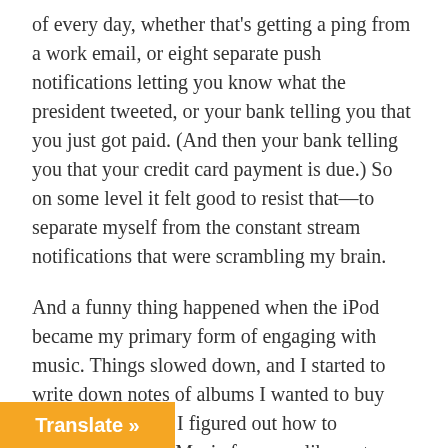of every day, whether that's getting a ping from a work email, or eight separate push notifications letting you know what the president tweeted, or your bank telling you that you just got paid. (And then your bank telling you that your credit card payment is due.) So on some level it felt good to resist that—to separate myself from the constant stream notifications that were scrambling my brain.
And a funny thing happened when the iPod became my primary form of engaging with music. Things slowed down, and I started to write down notes of albums I wanted to buy when I got home. I figured out how to disconnect Apple Music from my library to give me that old school iTunes experience (the key is turning off iCloud Music), and then found myself spending hours browsing the store. I'd have iTunes open in one window and Y [Translate »] another just so I could sample albums